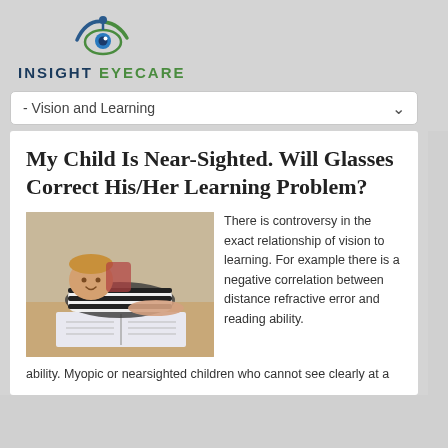[Figure (logo): Insight Eyecare logo with stylized eye graphic in blue and green]
- Vision and Learning
My Child Is Near-Sighted. Will Glasses Correct His/Her Learning Problem?
[Figure (photo): Young boy lying on floor reading an open book, smiling]
There is controversy in the exact relationship of vision to learning. For example there is a negative correlation between distance refractive error and reading ability. Myopic or nearsighted children who cannot see clearly at a